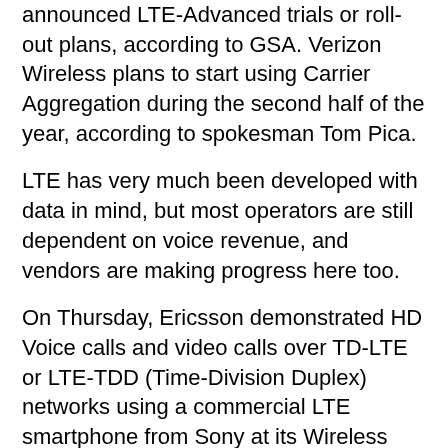announced LTE-Advanced trials or roll-out plans, according to GSA. Verizon Wireless plans to start using Carrier Aggregation during the second half of the year, according to spokesman Tom Pica.
LTE has very much been developed with data in mind, but most operators are still dependent on voice revenue, and vendors are making progress here too.
On Thursday, Ericsson demonstrated HD Voice calls and video calls over TD-LTE or LTE-TDD (Time-Division Duplex) networks using a commercial LTE smartphone from Sony at its Wireless Innovation Lab & Demo Center in Shanghai.
Sony's Xperia SP M35t phone supports TDD and FDD versions of LTE, as well as TD-SCDMA, HSPA and GSM. Sony announced the smartphone this